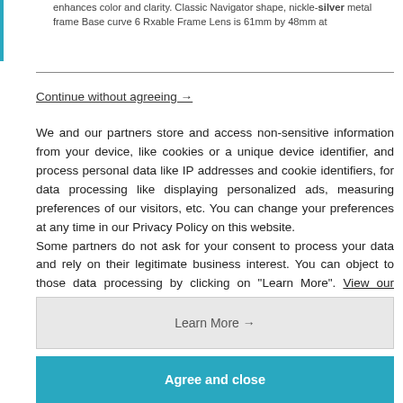enhances color and clarity. Classic Navigator shape, nickle-silver metal frame Base curve 6 Rxable Frame Lens is 61mm by 48mm at
Continue without agreeing →
We and our partners store and access non-sensitive information from your device, like cookies or a unique device identifier, and process personal data like IP addresses and cookie identifiers, for data processing like displaying personalized ads, measuring preferences of our visitors, etc. You can change your preferences at any time in our Privacy Policy on this website.
Some partners do not ask for your consent to process your data and rely on their legitimate business interest. You can object to those data processing by clicking on "Learn More". View our partners
Learn More →
Agree and close